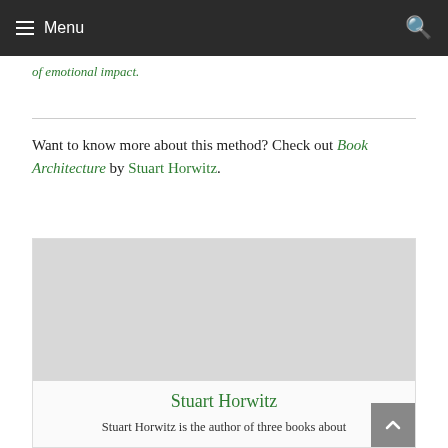Menu
of emotional impact.
Want to know more about this method? Check out Book Architecture by Stuart Horwitz.
[Figure (other): Author card with photo placeholder, name Stuart Horwitz, and partial bio text]
Stuart Horwitz
Stuart Horwitz is the author of three books about